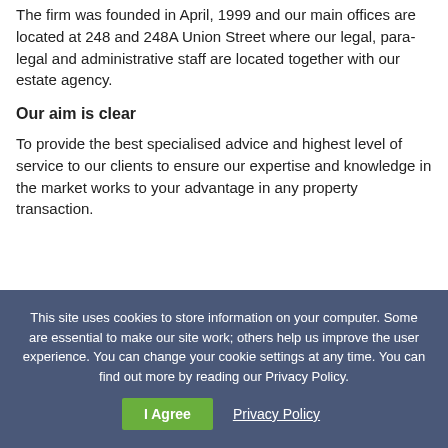The firm was founded in April, 1999 and our main offices are located at 248 and 248A Union Street where our legal, para-legal and administrative staff are located together with our estate agency.
Our aim is clear
To provide the best specialised advice and highest level of service to our clients to ensure our expertise and knowledge in the market works to your advantage in any property transaction.
This site uses cookies to store information on your computer. Some are essential to make our site work; others help us improve the user experience. You can change your cookie settings at any time. You can find out more by reading our Privacy Policy.